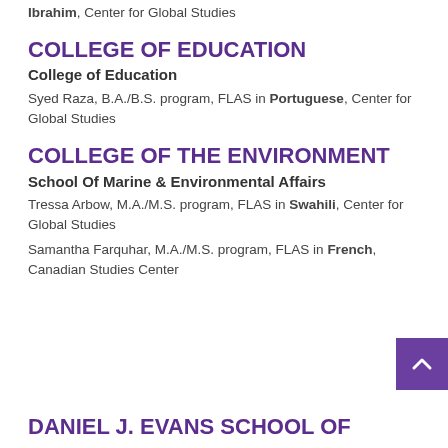Ibrahim, Center for Global Studies
COLLEGE OF EDUCATION
College of Education
Syed Raza, B.A./B.S. program, FLAS in Portuguese, Center for Global Studies
COLLEGE OF THE ENVIRONMENT
School Of Marine & Environmental Affairs
Tressa Arbow, M.A./M.S. program, FLAS in Swahili, Center for Global Studies
Samantha Farquhar, M.A./M.S. program, FLAS in French, Canadian Studies Center
DANIEL J. EVANS SCHOOL OF